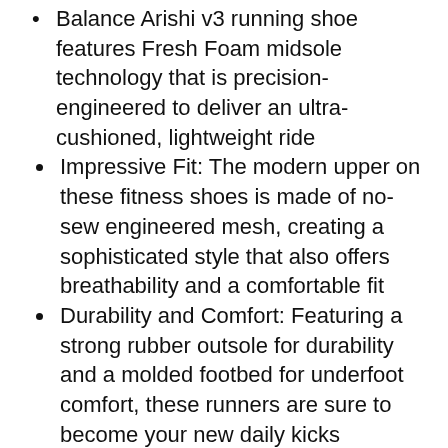Balance Arishi v3 running shoe features Fresh Foam midsole technology that is precision-engineered to deliver an ultra-cushioned, lightweight ride
Impressive Fit: The modern upper on these fitness shoes is made of no-sew engineered mesh, creating a sophisticated style that also offers breathability and a comfortable fit
Durability and Comfort: Featuring a strong rubber outsole for durability and a molded footbed for underfoot comfort, these runners are sure to become your new daily kicks
Designed for All-Day Wear: This New Balance sneaker is truly a premium underfoot comfort experience, offering